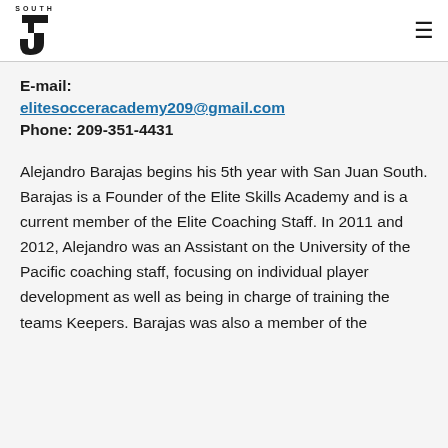SOUTH [logo] ☰
E-mail:
elitesocceracademy209@gmail.com
Phone: 209-351-4431
Alejandro Barajas begins his 5th year with San Juan South. Barajas is a Founder of the Elite Skills Academy and is a current member of the Elite Coaching Staff. In 2011 and 2012, Alejandro was an Assistant on the University of the Pacific coaching staff, focusing on individual player development as well as being in charge of training the teams Keepers. Barajas was also a member of the